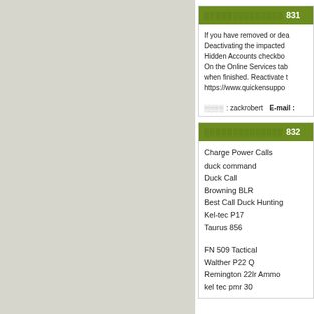░░░░░░░░░░░░░░ 831
If you have removed or dea... Deactivating the impacted... Hidden Accounts checkbo... On the Online Services tab... when finished. Reactivate t... https://www.quickensuppo...
░░░░ : zackrobert   E-mail :
░░░░░░░░░░░░░░ 832
Charge Power Calls
duck command
Duck Call
Browning BLR
Best Call Duck Hunting
Kel-tec P17
Taurus 856
FN 509 Tactical
Walther P22 Q
Remington 22lr Ammo
kel tec pmr 30